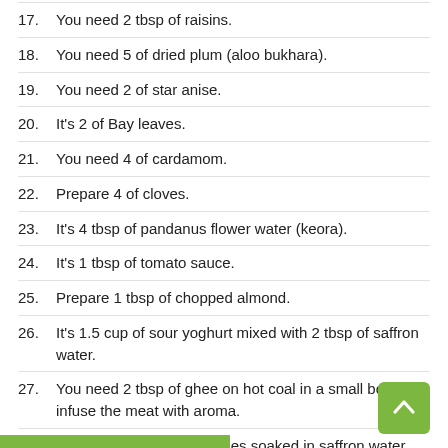17. You need 2 tbsp of raisins.
18. You need 5 of dried plum (aloo bukhara).
19. You need 2 of star anise.
20. It's 2 of Bay leaves.
21. You need 4 of cardamom.
22. Prepare 4 of cloves.
23. It's 4 tbsp of pandanus flower water (keora).
24. It's 1 tbsp of tomato sauce.
25. Prepare 1 tbsp of chopped almond.
26. It's 1.5 cup of sour yoghurt mixed with 2 tbsp of saffron water.
27. You need 2 tbsp of ghee on hot coal in a small bowl to infuse the meat with aroma.
28. It's 4 of large whole potatoes soaked in saffron water and fried in oil with a hint of turmeric.
29. It's 2 tbsp of mawa.
30. You need 1 cup of fried onion.
31. You need 5 of dried plum (aloo bukhara).